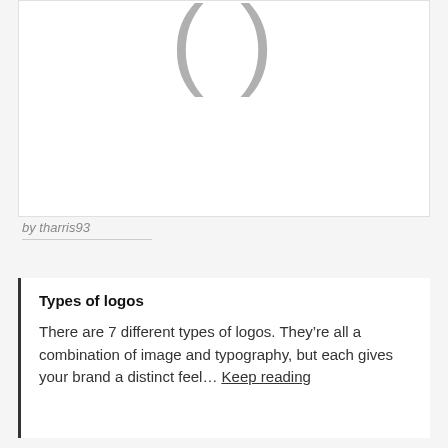[Figure (illustration): Large decorative quotation mark characters on white background, partially cropped at top]
by tharris93
Types of logos
There are 7 different types of logos. They're all a combination of image and typography, but each gives your brand a distinct feel… Keep reading